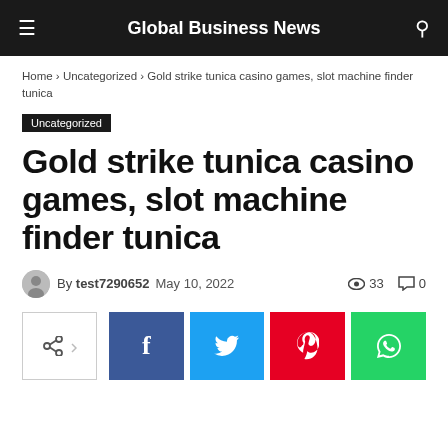Global Business News
Home › Uncategorized › Gold strike tunica casino games, slot machine finder tunica
Uncategorized
Gold strike tunica casino games, slot machine finder tunica
By test7290652  May 10, 2022  33  0
[Figure (other): Social share buttons: share icon, Facebook, Twitter, Pinterest, WhatsApp]